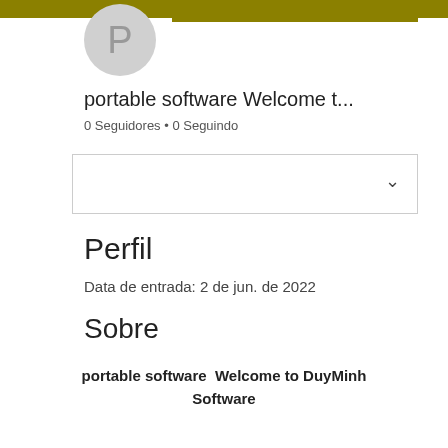[Figure (illustration): User avatar circle with letter P on olive/dark yellow header bar background]
portable software Welcome t...
0 Seguidores • 0 Seguindo
[Figure (screenshot): Dropdown box with chevron/caret icon on the right]
Perfil
Data de entrada: 2 de jun. de 2022
Sobre
portable software  Welcome to DuyMinh Software